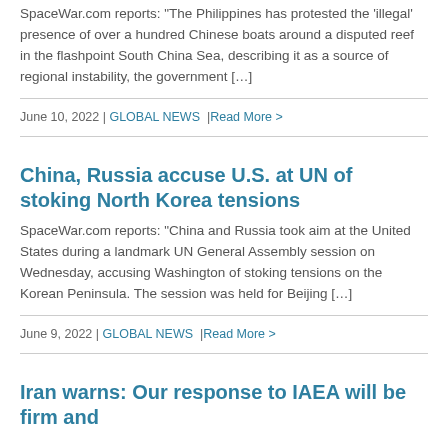SpaceWar.com reports: “The Philippines has protested the ‘illegal’ presence of over a hundred Chinese boats around a disputed reef in the flashpoint South China Sea, describing it as a source of regional instability, the government […]
June 10, 2022 | GLOBAL NEWS | Read More >
China, Russia accuse U.S. at UN of stoking North Korea tensions
SpaceWar.com reports: “China and Russia took aim at the United States during a landmark UN General Assembly session on Wednesday, accusing Washington of stoking tensions on the Korean Peninsula. The session was held for Beijing […]
June 9, 2022 | GLOBAL NEWS | Read More >
Iran warns: Our response to IAEA will be firm and